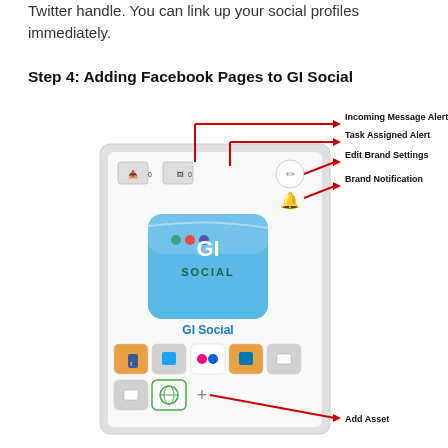Twitter handle. You can link up your social profiles immediately.
Step 4: Adding Facebook Pages to GI Social
[Figure (screenshot): Screenshot of GI Social brand panel showing icons for Incoming Message Alert, Task Assigned Alert, Edit Brand Settings, Brand Notification, GI Social logo, social network icons row, and Add Asset button with red arrow callouts labeling each element.]